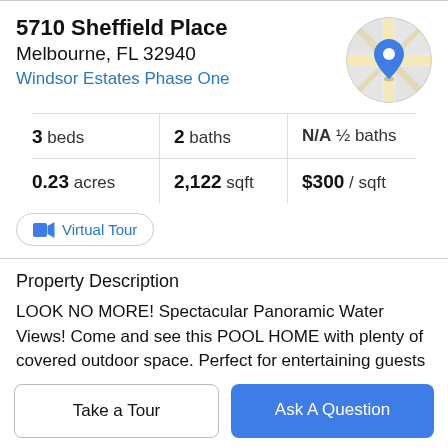5710 Sheffield Place
Melbourne, FL 32940
Windsor Estates Phase One
[Figure (map): Circular map thumbnail with a blue location pin marker, showing street/road map tiles in gray and gold/yellow.]
| Metric | Value |
| --- | --- |
| beds | 3 |
| baths | 2 |
| ½ baths | N/A |
| acres | 0.23 |
| sqft | 2,122 |
| $ / sqft | $300 |
Virtual Tour
Property Description
LOOK NO MORE! Spectacular Panoramic Water Views! Come and see this POOL HOME with plenty of covered outdoor space. Perfect for entertaining guests and to enjoy
Florida Living at its BEST! As you enter through the front
Take a Tour
Ask A Question